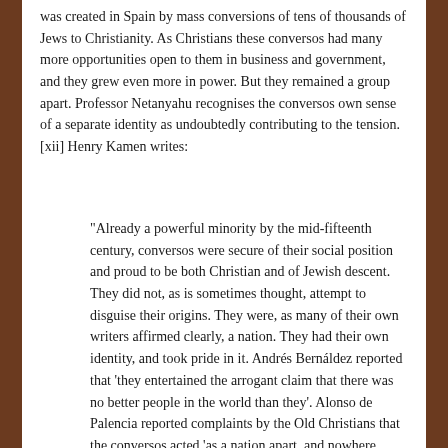was created in Spain by mass conversions of tens of thousands of Jews to Christianity. As Christians these conversos had many more opportunities open to them in business and government, and they grew even more in power. But they remained a group apart. Professor Netanyahu recognises the conversos own sense of a separate identity as undoubtedly contributing to the tension. [xii] Henry Kamen writes:
“Already a powerful minority by the mid-fifteenth century, conversos were secure of their social position and proud to be both Christian and of Jewish descent. They did not, as is sometimes thought, attempt to disguise their origins. They were, as many of their own writers affirmed clearly, a nation. They had their own identity, and took pride in it. Andrés Bernáldez reported that ‘they entertained the arrogant claim that there was no better people in the world than they’. Alonso de Palencia reported complaints by the Old Christians that the conversos acted ‘as a nation apart, and nowhere would they agree to act together with the Old Christians; indeed, as though they were a people of totally opposed ideas, they openly and brazenly favoured whatever was contrary to the Old Christians, as could be seen by the bitter fruit sown throughout